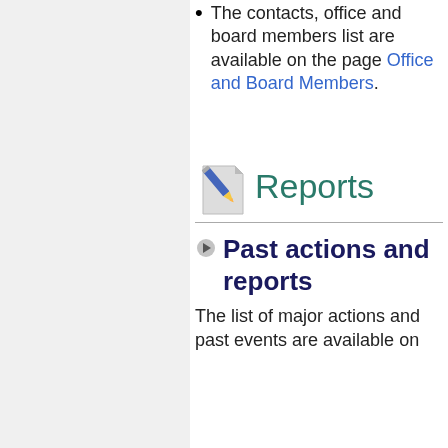The contacts, office and board members list are available on the page Office and Board Members.
Reports
Past actions and reports
The list of major actions and past events are available on